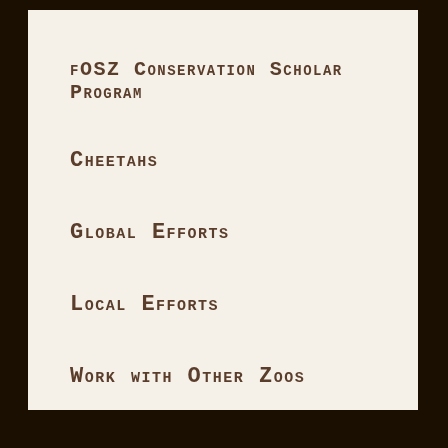FOSZ Conservation Scholar Program
Cheetahs
Global Efforts
Local Efforts
Work with Other Zoos